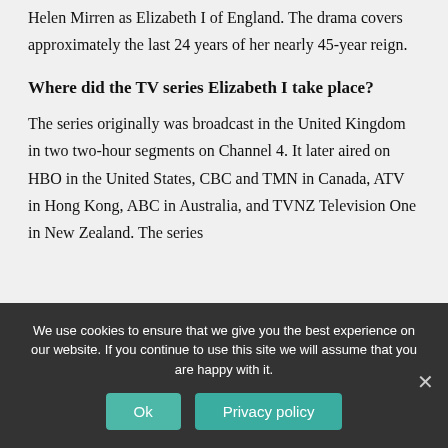Helen Mirren as Elizabeth I of England. The drama covers approximately the last 24 years of her nearly 45-year reign.
Where did the TV series Elizabeth I take place?
The series originally was broadcast in the United Kingdom in two two-hour segments on Channel 4. It later aired on HBO in the United States, CBC and TMN in Canada, ATV in Hong Kong, ABC in Australia, and TVNZ Television One in New Zealand. The series
We use cookies to ensure that we give you the best experience on our website. If you continue to use this site we will assume that you are happy with it.